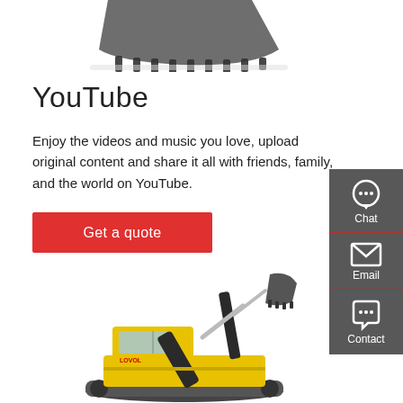[Figure (photo): Excavator bucket attachment, top portion visible against white background]
YouTube
Enjoy the videos and music you love, upload original content and share it all with friends, family, and the world on YouTube.
Get a quote
[Figure (photo): Yellow LOVOL excavator/crawler excavator on white background]
[Figure (infographic): Right-side floating contact sidebar with Chat, Email, and Contact options on dark grey background]